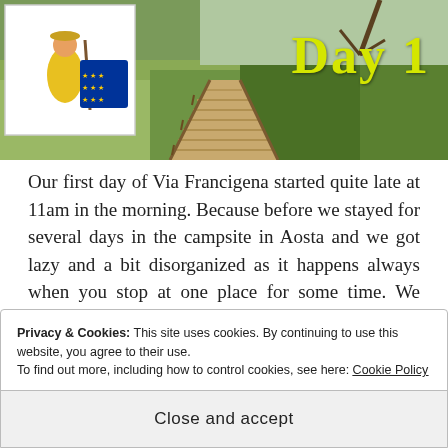[Figure (photo): Header photo of a wooden boardwalk trail through green shrubby landscape with a logo of a pilgrim figure with EU stars in the top left corner and 'Day 1' text in yellow on the right]
Our first day of Via Francigena started quite late at 11am in the morning. Because before we stayed for several days in the campsite in Aosta and we got lazy and a bit disorganized as it happens always when you stop at one place for some time. We needed to have a break from our previous hike Tour de Mont Blanc to restore our powers. And so, it took time to gather all our things together and we hoped to get into the hiking routine back soon.
Privacy & Cookies: This site uses cookies. By continuing to use this website, you agree to their use.
To find out more, including how to control cookies, see here: Cookie Policy
Close and accept